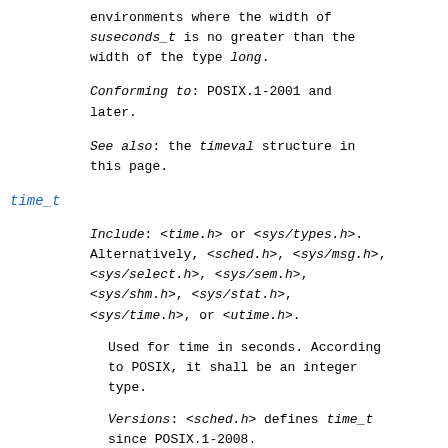environments where the width of suseconds_t is no greater than the width of the type long.
Conforming to: POSIX.1-2001 and later.
See also: the timeval structure in this page.
time_t
Include: <time.h> or <sys/types.h>. Alternatively, <sched.h>, <sys/msg.h>, <sys/select.h>, <sys/sem.h>, <sys/shm.h>, <sys/stat.h>, <sys/time.h>, or <utime.h>.
Used for time in seconds. According to POSIX, it shall be an integer type.
Versions: <sched.h> defines time_t since POSIX.1-2008.